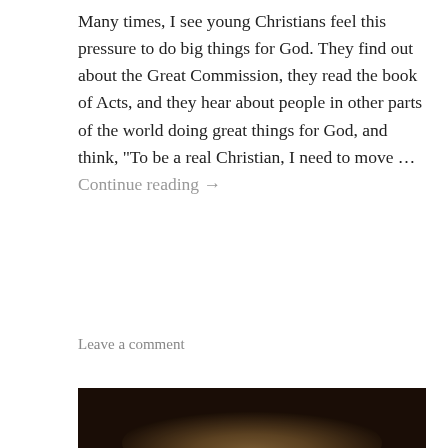Many times, I see young Christians feel this pressure to do big things for God. They find out about the Great Commission, they read the book of Acts, and they hear about people in other parts of the world doing great things for God, and think, "To be a real Christian, I need to move ... Continue reading →
Leave a comment
[Figure (photo): A close-up photograph of an open human hand with fingers spread, lit dramatically against a dark brown/black background. The palm faces upward in a reaching or offering gesture.]